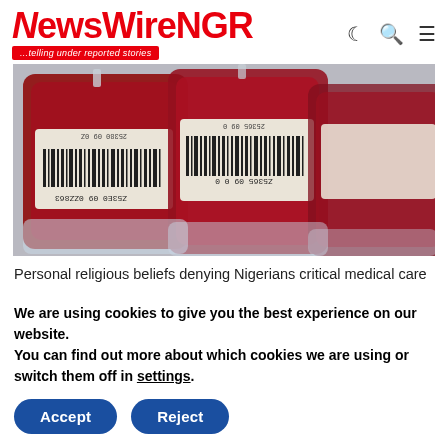NewsWireNGR ...telling under reported stories
[Figure (photo): Close-up photo of red blood bags with barcodes and labels, arranged in a row]
Personal religious beliefs denying Nigerians critical medical care
We are using cookies to give you the best experience on our website.
You can find out more about which cookies we are using or switch them off in settings.
Accept  Reject